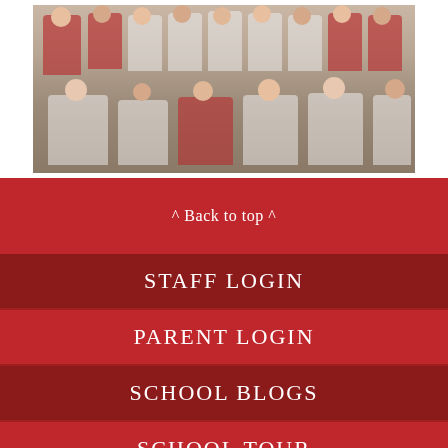[Figure (photo): Group photo of school children in red and white uniforms standing and sitting in front of a stone building entrance]
^ Back to top ^
STAFF LOGIN
PARENT LOGIN
SCHOOL BLOGS
SCHOOL TOUR